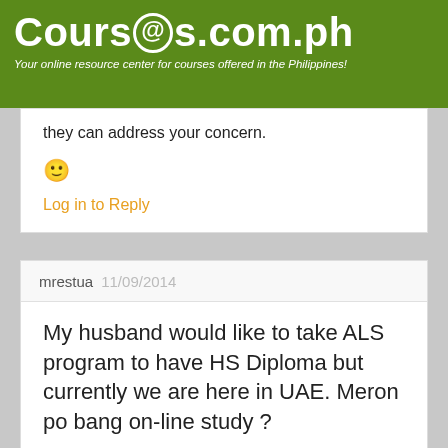Courses.com.ph – Your online resource center for courses offered in the Philippines!
they can address your concern.
🙂
Log in to Reply
mrestua  11/09/2014
My husband would like to take ALS program to have HS Diploma but currently we are here in UAE. Meron po bang on-line study ?
Log in to Reply